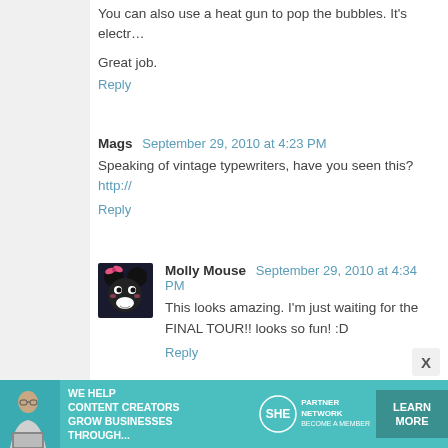You can also use a heat gun to pop the bubbles. It's electr…
Great job.
Reply
Mags  September 29, 2010 at 4:23 PM
Speaking of vintage typewriters, have you seen this? http://…
Reply
[Figure (photo): Avatar of Molly Mouse – cartoon Minnie Mouse style character with pink bow]
Molly Mouse  September 29, 2010 at 4:34 PM
This looks amazing. I'm just waiting for the FINAL TOUR!! looks so fun! :D
Reply
Anonymous  September 29, 2010 at 4:38 PM
awesome congrats on making apt therapy
Reply
[Figure (infographic): SHE Partner Network advertisement banner: 'We help content creators grow businesses through...' with LEARN MORE button]